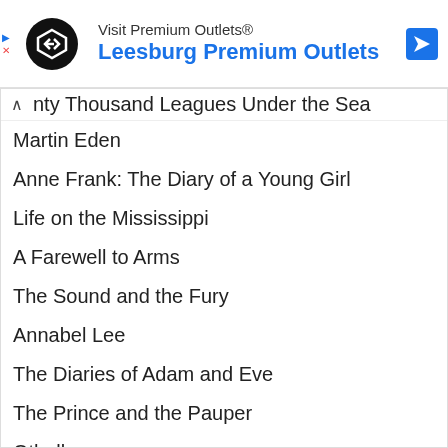[Figure (screenshot): Ad banner for Premium Outlets - Leesburg Premium Outlets with logo and navigation icon]
nty Thousand Leagues Under the Sea
Martin Eden
Anne Frank: The Diary of a Young Girl
Life on the Mississippi
A Farewell to Arms
The Sound and the Fury
Annabel Lee
The Diaries of Adam and Eve
The Prince and the Pauper
Othello
Brave New World
Breakfast at Tiffany's
Lord of the Flies
The Green Mile
Man in the Iron Mask
The Fault in Our Stars